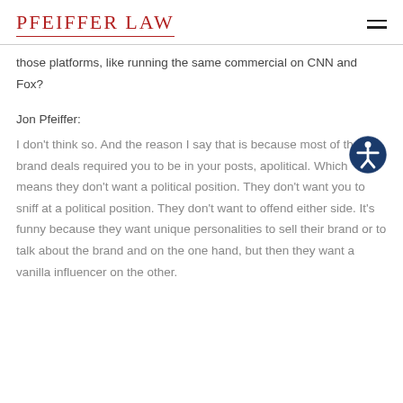Pfeiffer Law
those platforms, like running the same commercial on CNN and Fox?
Jon Pfeiffer:
I don't think so. And the reason I say that is because most of the brand deals required you to be in your posts, apolitical. Which means they don't want a political position. They don't want you to sniff at a political position. They don't want to offend either side. It's funny because they want unique personalities to sell their brand or to talk about the brand and on the one hand, but then they want a vanilla influencer on the other.